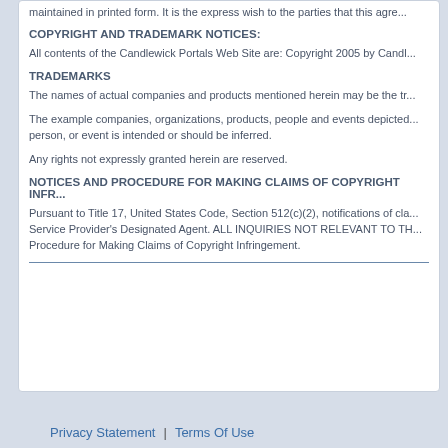maintained in printed form. It is the express wish to the parties that this agr...
COPYRIGHT AND TRADEMARK NOTICES:
All contents of the Candlewick Portals Web Site are: Copyright 2005 by Candl...
TRADEMARKS
The names of actual companies and products mentioned herein may be the tr...
The example companies, organizations, products, people and events depicted... person, or event is intended or should be inferred.
Any rights not expressly granted herein are reserved.
NOTICES AND PROCEDURE FOR MAKING CLAIMS OF COPYRIGHT INFR...
Pursuant to Title 17, United States Code, Section 512(c)(2), notifications of cla... Service Provider's Designated Agent. ALL INQUIRIES NOT RELEVANT TO TH... Procedure for Making Claims of Copyright Infringement.
Privacy Statement  |  Terms Of Use